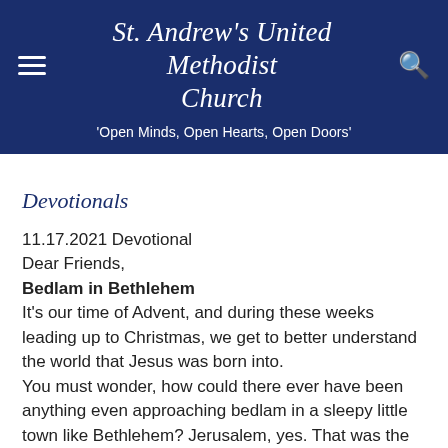St. Andrew's United Methodist Church
'Open Minds, Open Hearts, Open Doors'
Devotionals
11.17.2021 Devotional
Dear Friends,
Bedlam in Bethlehem
It's our time of Advent, and during these weeks leading up to Christmas, we get to better understand the world that Jesus was born into.
You must wonder, how could there ever have been anything even approaching bedlam in a sleepy little town like Bethlehem? Jerusalem, yes. That was the capital, the big city. The center of politics, finance, and religion. Jerusalem was a busy, vital city teeming with people and activity. But Bethlehem, as the